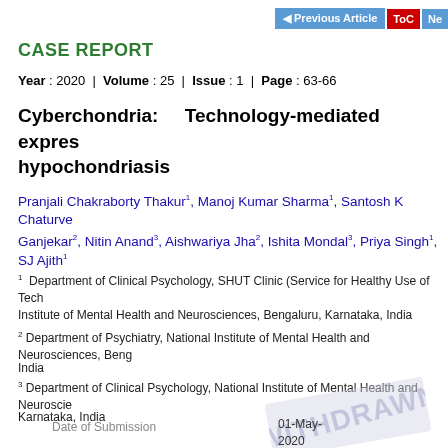Previous Article | ToC | Ne
CASE REPORT
Year : 2020 | Volume : 25 | Issue : 1 | Page : 63-66
Cyberchondria: Technology-mediated expression of hypochondriasis
Pranjali Chakraborty Thakur1, Manoj Kumar Sharma1, Santosh K Chaturvedi, Ganjekar2, Nitin Anand3, Aishwariya Jha2, Ishita Mondal3, Priya Singh1, SJ Ajith1
1 Department of Clinical Psychology, SHUT Clinic (Service for Healthy Use of Technology), National Institute of Mental Health and Neurosciences, Bengaluru, Karnataka, India
2 Department of Psychiatry, National Institute of Mental Health and Neurosciences, Bengaluru, Karnataka, India
3 Department of Clinical Psychology, National Institute of Mental Health and Neurosciences, Bengaluru, Karnataka, India
Date of Submission: 01-May-2020